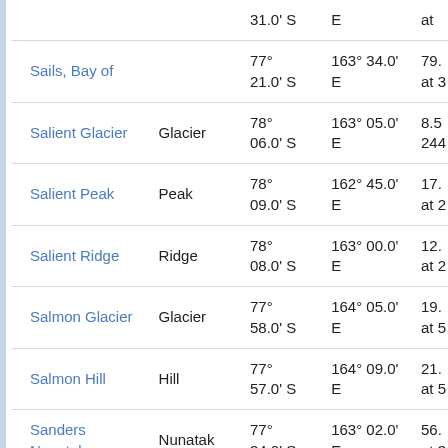| Name | Type | Latitude | Longitude | Other |
| --- | --- | --- | --- | --- |
|  |  | 31.0' S | E | at |
| Sails, Bay of |  | 77° 21.0' S | 163° 34.0' E | 79. at 3 |
| Salient Glacier | Glacier | 78° 06.0' S | 163° 05.0' E | 8.5 244 |
| Salient Peak | Peak | 78° 09.0' S | 162° 45.0' E | 17. at 2 |
| Salient Ridge | Ridge | 78° 08.0' S | 163° 00.0' E | 12. at 2 |
| Salmon Glacier | Glacier | 77° 58.0' S | 164° 05.0' E | 19. at 5 |
| Salmon Hill | Hill | 77° 57.0' S | 164° 09.0' E | 21. at 5 |
| Sanders Nunatak | Nunatak | 77° 34.0' S | 163° 02.0' E | 56. at 3 |
| Savage Ridge | Ridge | 78° | 163° 22.0' | 46. |